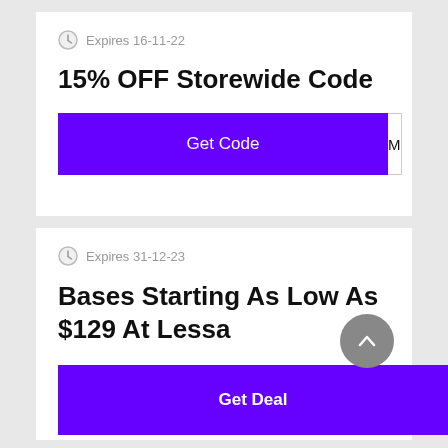Expires 16-11-22
15% OFF Storewide Code
[Figure (other): Purple 'Get Code' button with a white code reveal box showing 'M']
Expires 31-12-23
Bases Starting As Low As $129 At Lessa
[Figure (other): Purple 'Get Deal' button]
[Figure (other): Gray circular scroll-to-top arrow button]